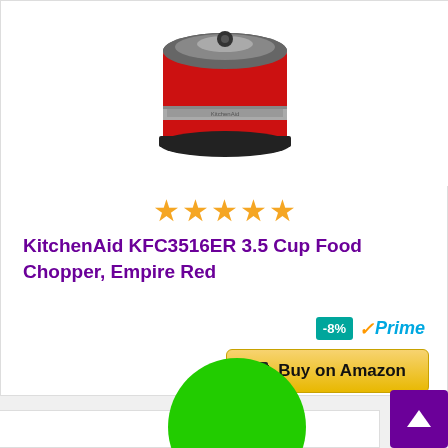[Figure (photo): KitchenAid KFC3516ER red food chopper product photo, partially cropped showing top portion of the red appliance]
★★★★★
KitchenAid KFC3516ER 3.5 Cup Food Chopper, Empire Red
-8%
✓Prime
🛒 Buy on Amazon
[Figure (other): Green circle/button overlapping between two product cards]
[Figure (other): Purple back-to-top arrow button in bottom right corner]